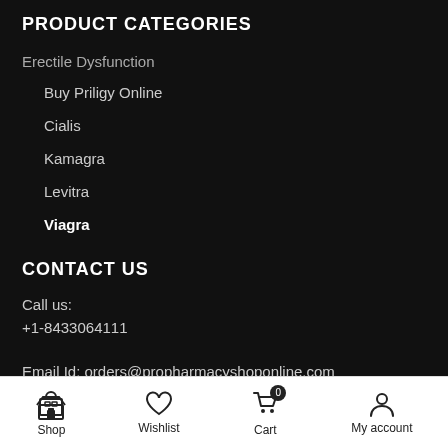PRODUCT CATEGORIES
Erectile Dysfunction
Buy Priligy Online
Cialis
Kamagra
Levitra
Viagra
CONTACT US
Call us:
+1-8433064111
Email Id: orders@propharmacyshoponline.com
Shop  Wishlist  Cart 0  My account